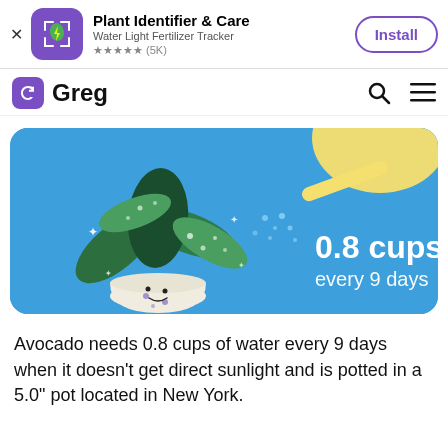[Figure (screenshot): Ad banner: Plant Identifier & Care app advertisement with purple icon, Install button]
Greg
[Figure (illustration): Plant care illustration on blue background showing a cartoon potted plant being watered with text '0.8 cups every 9 days']
Avocado needs 0.8 cups of water every 9 days when it doesn't get direct sunlight and is potted in a 5.0" pot located in New York.